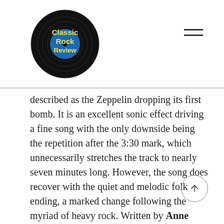Classic Rock Review
described as the Zeppelin dropping its first bomb. It is an excellent sonic effect driving a fine song with the only downside being the repetition after the 3:30 mark, which unnecessarily stretches the track to nearly seven minutes long. However, the song does recover with the quiet and melodic folk ending, a marked change following the myriad of heavy rock. Written by Anne Bredon in the 1950s, this would be one of many songs on the first two albums to be controversial due to lack of proper songwriting credits.
No such controversy with “You Shook